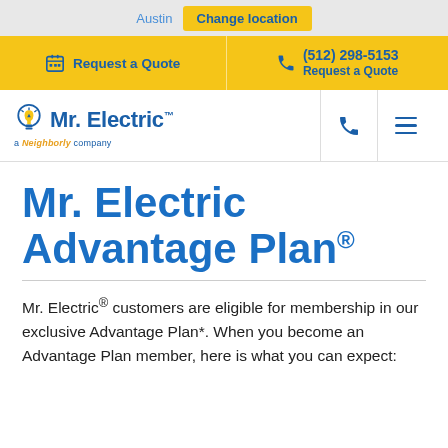Austin  Change location
Request a Quote  (512) 298-5153  Request a Quote
[Figure (logo): Mr. Electric logo with lightbulb icon and tagline 'a Neighborly company', navigation phone and menu icons]
Mr. Electric Advantage Plan®
Mr. Electric® customers are eligible for membership in our exclusive Advantage Plan*. When you become an Advantage Plan member, here is what you can expect: